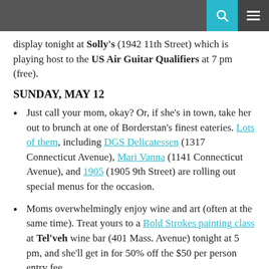[navigation bar with search and menu icons]
display tonight at Solly's (1942 11th Street) which is playing host to the US Air Guitar Qualifiers at 7 pm (free).
SUNDAY, MAY 12
Just call your mom, okay? Or, if she's in town, take her out to brunch at one of Borderstan's finest eateries. Lots of them, including DGS Delicatessen (1317 Connecticut Avenue), Mari Vanna (1141 Connecticut Avenue), and 1905 (1905 9th Street) are rolling out special menus for the occasion.
Moms overwhelmingly enjoy wine and art (often at the same time). Treat yours to a Bold Strokes painting class at Tel'veh wine bar (401 Mass. Avenue) tonight at 5 pm, and she'll get in for 50% off the $50 per person entry fee.
Lots of moms also like birds and other nature-y things. Some great options for them are to...